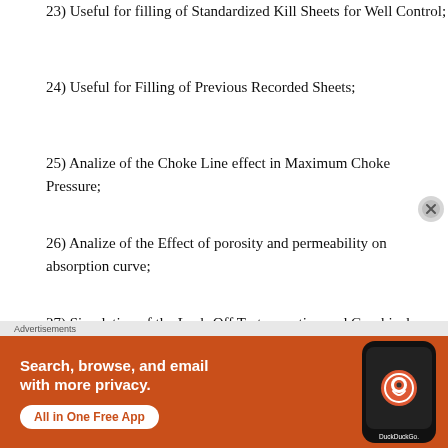23) Useful for filling of Standardized Kill Sheets for Well Control;
24) Useful for Filling of Previous Recorded Sheets;
25) Analize of the Choke Line effect in Maximum Choke Pressure;
26) Analize of the Effect of porosity and permeability on absorption curve;
27) Simulation of the Leak-Off Test operation and Graphical Analize of the Leak-Off Test
28) Capacities and Volumes calculations;
[Figure (other): DuckDuckGo advertisement banner showing a smartphone with the DuckDuckGo logo. Text: 'Search, browse, and email with more privacy. All in One Free App. DuckDuckGo.']